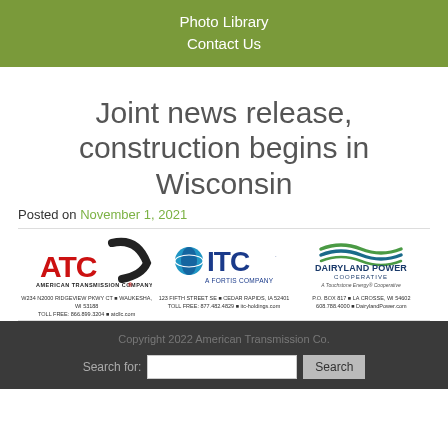Photo Library
Contact Us
Joint news release, construction begins in Wisconsin
Posted on November 1, 2021
[Figure (logo): Three company logos side by side: American Transmission Company (ATC) logo in red and black, ITC A Fortis Company logo in blue, and Dairyland Power Cooperative logo with green wave. Each with address info below.]
Copyright 2022 American Transmission Co.
Search for: [input] Search